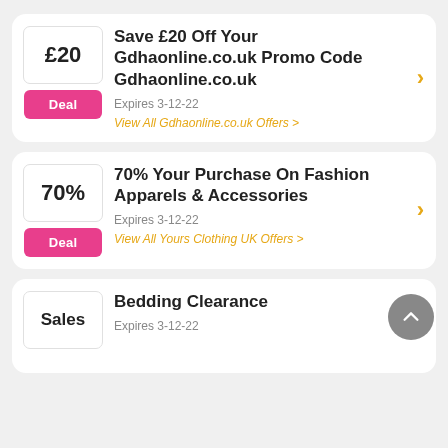Save £20 Off Your Gdhaonline.co.uk Promo Code Gdhaonline.co.uk | Expires 3-12-22 | View All Gdhaonline.co.uk Offers
70% Your Purchase On Fashion Apparels & Accessories | Expires 3-12-22 | View All Yours Clothing UK Offers
Bedding Clearance | Expires 3-12-22